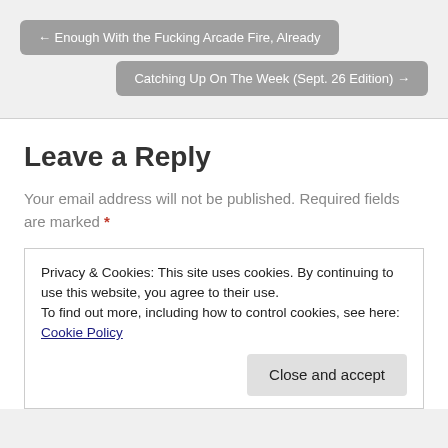← Enough With the Fucking Arcade Fire, Already
Catching Up On The Week (Sept. 26 Edition) →
Leave a Reply
Your email address will not be published. Required fields are marked *
Privacy & Cookies: This site uses cookies. By continuing to use this website, you agree to their use.
To find out more, including how to control cookies, see here: Cookie Policy
Close and accept